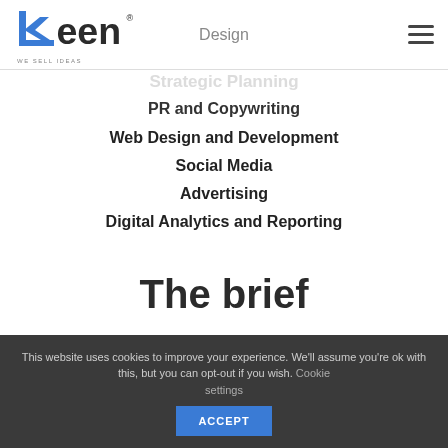[Figure (logo): Keen logo with tagline WE SELL IDEAS]
Design
PR and Copywriting
Web Design and Development
Social Media
Advertising
Digital Analytics and Reporting
The brief
This website uses cookies to improve your experience. We'll assume you're ok with this, but you can opt-out if you wish. Cookie settings ACCEPT